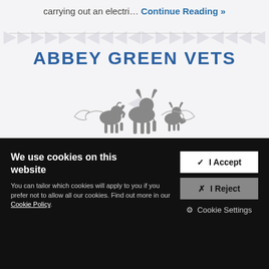carrying out an electri… Continue Reading »
ABBEY GREEN VETS
[Figure (illustration): Silhouettes of a dog, cow, and cat with decorative scroll, representing a veterinary practice logo]
We use cookies on this website
You can tailor which cookies will apply to you if you prefer not to allow all our cookies. Find out more in our Cookie Policy.
✓ I Accept
✗ I Reject
⚙ Cookie Settings